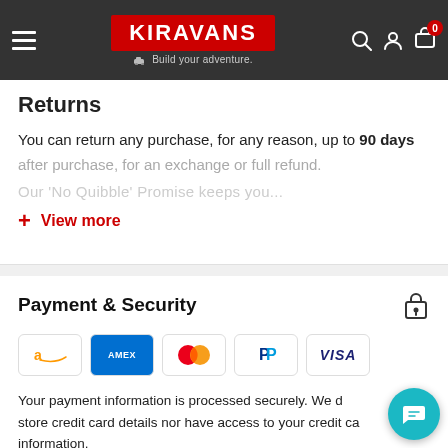KIRAVANS — Build your adventure.
Returns
You can return any purchase, for any reason, up to 90 days after purchase, for an exchange or full refund.
Our 'No Quibble' Promise keeps you...
+ View more
Payment & Security
[Figure (logo): Payment method logos: Amazon, Amex, Mastercard, PayPal, Visa]
Your payment information is processed securely. We do not store credit card details nor have access to your credit card information.